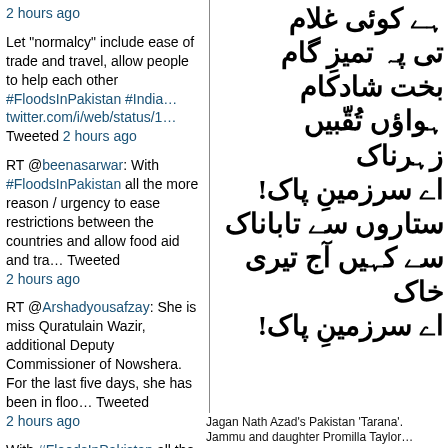2 hours ago
Let "normalcy" include ease of trade and travel, allow people to help each other #FloodsInPakistan #India… twitter.com/i/web/status/1… Tweeted 2 hours ago
RT @beenasarwar: With #FloodsInPakistan all the more reason / urgency to ease restrictions between the countries and allow food aid and tra… Tweeted 2 hours ago
RT @Arshadyousafzay: She is miss Quratulain Wazir, additional Deputy Commissioner of Nowshera. For the last five days, she has been in floo… Tweeted 2 hours ago
With #FloodsInPakistan all the more reason / urgency to
[Figure (other): Urdu text of Jagan Nath Azad's Pakistan Tarana poem, written in large bold Urdu/Nastaliq script]
Jagan Nath Azad's Pakistan 'Tarana'. Jammu and daughter Promilla Taylor…